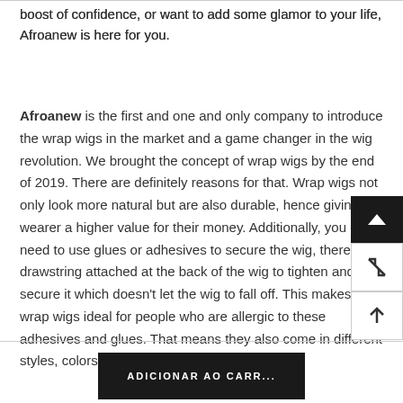boost of confidence, or want to add some glamor to your life, Afroanew is here for you.
Afroanew is the first and one and only company to introduce the wrap wigs in the market and a game changer in the wig revolution. We brought the concept of wrap wigs by the end of 2019. There are definitely reasons for that. Wrap wigs not only look more natural but are also durable, hence giving the wearer a higher value for their money. Additionally, you don't need to use glues or adhesives to secure the wig, there is a drawstring attached at the back of the wig to tighten and secure it which doesn't let the wig to fall off. This makes wrap wigs ideal for people who are allergic to these adhesives and glues. That means they also come in different styles, colors, lengths, and densities.
ADICIONAR AO CARR...